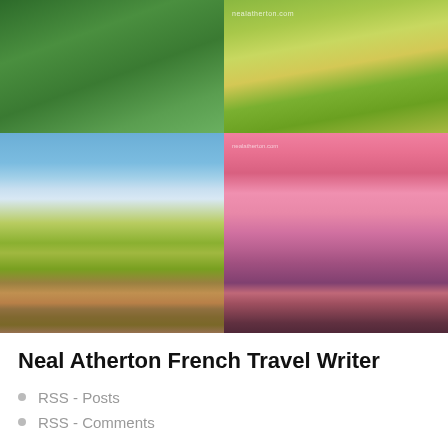[Figure (photo): 2x2 grid of four landscape/travel photos: top-left green forest trees, top-right grassy path with nealatherton.com watermark, bottom-left wildflower meadow with blue sky, bottom-right pink/purple sunset over coastal town]
Neal Atherton French Travel Writer
RSS - Posts
RSS - Comments
Goodreads